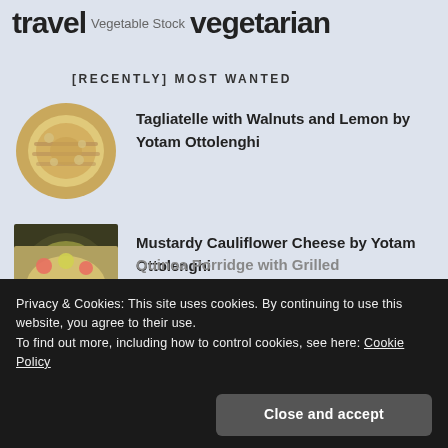travel Vegetable Stock vegetarian
[RECENTLY] MOST WANTED
[Figure (photo): Bowl of tagliatelle pasta with walnuts and lemon]
Tagliatelle with Walnuts and Lemon by Yotam Ottolenghi
[Figure (photo): Pan of mustardy cauliflower cheese]
Mustardy Cauliflower Cheese by Yotam Ottolenghi
[Figure (photo): Partial view of quinoa porridge dish]
Quinoa Porridge with Grilled
Privacy & Cookies: This site uses cookies. By continuing to use this website, you agree to their use.
To find out more, including how to control cookies, see here: Cookie Policy